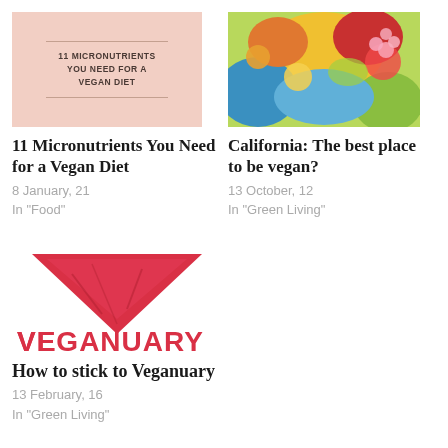[Figure (illustration): Book/article thumbnail: peach background with text '11 MICRONUTRIENTS YOU NEED FOR A VEGAN DIET' in uppercase serif font, bordered by horizontal lines]
[Figure (illustration): Colorful painted mural-style illustration with tropical/nature motifs in reds, yellows, greens, blues]
11 Micronutrients You Need for a Vegan Diet
8 January, 21
In "Food"
California: The best place to be vegan?
13 October, 12
In "Green Living"
[Figure (logo): Veganuary logo: red inverted triangle/V shape above the word VEGANUARY in bold red letters]
How to stick to Veganuary
13 February, 16
In "Green Living"